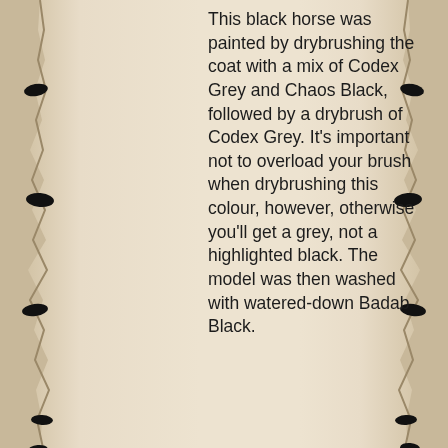This black horse was painted by drybrushing the coat with a mix of Codex Grey and Chaos Black, followed by a drybrush of Codex Grey. It's important not to overload your brush when drybrushing this colour, however, otherwise you'll get a grey, not a highlighted black. The model was then washed with watered-down Badab Black.
[Figure (other): Placeholder image showing 'Sorry' text on a light grey/blue background, indicating missing image]